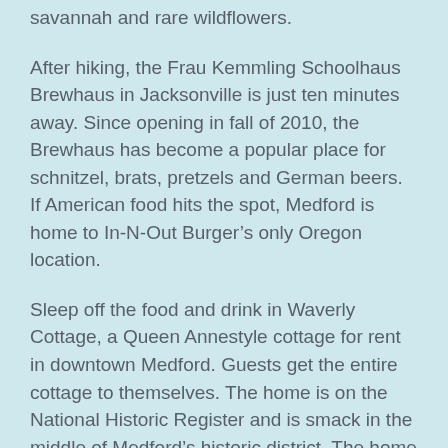savannah and rare wildflowers.
After hiking, the Frau Kemmling Schoolhaus Brewhaus in Jacksonville is just ten minutes away. Since opening in fall of 2010, the Brewhaus has become a popular place for schnitzel, brats, pretzels and German beers. If American food hits the spot, Medford is home to In-N-Out Burger's only Oregon location.
Sleep off the food and drink in Waverly Cottage, a Queen Annestyle cottage for rent in downtown Medford. Guests get the entire cottage to themselves. The home is on the National Historic Register and is smack in the middle of Medford's historic district. The home itself is filled with period items and furniture and feels like sleeping in a museum.
Madras/Pelton Dam: Minimal Rain, Maximum Recreation